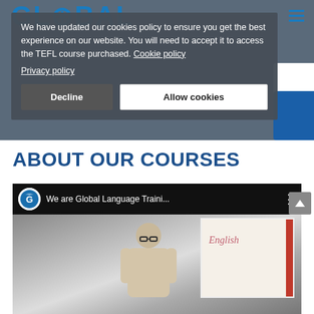[Figure (screenshot): Global Language Training website header with logo partially visible]
We have updated our cookies policy to ensure you get the best experience on our website. You will need to accept it to access the TEFL course purchased. Cookie policy
Privacy policy
ABOUT OUR COURSES
[Figure (screenshot): YouTube video embed showing 'We are Global Language Traini...' with a teacher in front of a whiteboard with 'English' written on it]